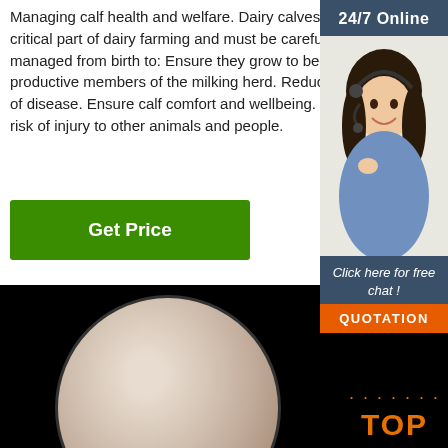Managing calf health and welfare. Dairy calves are a critical part of dairy farming and must be carefully managed from birth to: Ensure they grow to become productive members of the milking herd. Reduce the risk of disease. Ensure calf comfort and wellbeing. Reduce the risk of injury to other animals and people.
[Figure (other): Green 'Get Price' button]
[Figure (other): 24/7 Online customer service sidebar with a photo of a woman with a headset, 'Click here for free chat!' text and a 'QUOTATION' orange button]
[Figure (photo): Product photo: powdered substance in a round dish/petri dish on a black background, with a 'TOP' orange badge in bottom right corner]